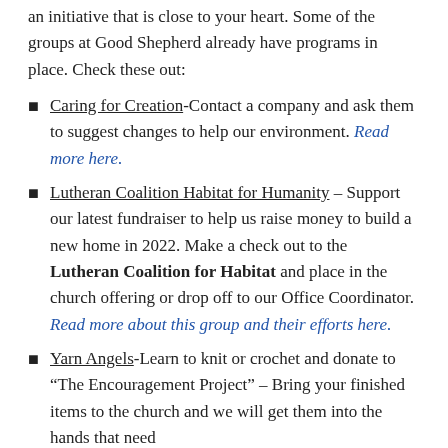an initiative that is close to your heart. Some of the groups at Good Shepherd already have programs in place. Check these out:
Caring for Creation-Contact a company and ask them to suggest changes to help our environment. Read more here.
Lutheran Coalition Habitat for Humanity – Support our latest fundraiser to help us raise money to build a new home in 2022. Make a check out to the Lutheran Coalition for Habitat and place in the church offering or drop off to our Office Coordinator. Read more about this group and their efforts here.
Yarn Angels-Learn to knit or crochet and donate to “The Encouragement Project” – Bring your finished items to the church and we will get them into the hands that need